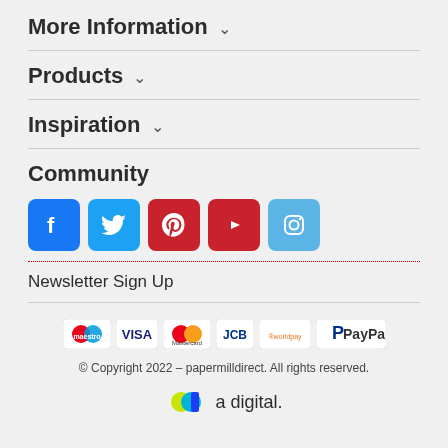More Information ˅
Products ˅
Inspiration ˅
Community
[Figure (infographic): Row of social media icons: Facebook (blue), Twitter (light blue), Pinterest (red), YouTube (red), Instagram (light blue)]
Newsletter Sign Up
[Figure (infographic): Payment method logos: Maestro, VISA, Mastercard, JCB, Worldpay, PayPal]
© Copyright 2022 – papermilldirect. All rights reserved.
[Figure (logo): a digital logo with colorful circle and text 'a digital.']